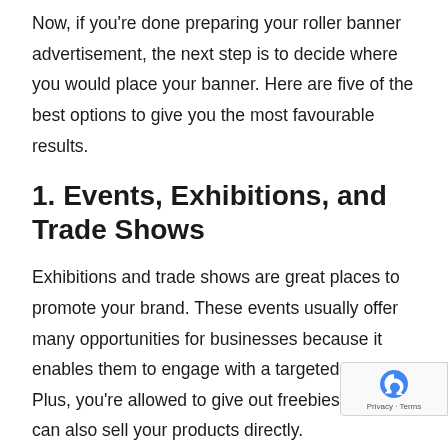Now, if you're done preparing your roller banner advertisement, the next step is to decide where you would place your banner. Here are five of the best options to give you the most favourable results.
1. Events, Exhibitions, and Trade Shows
Exhibitions and trade shows are great places to promote your brand. These events usually offer many opportunities for businesses because it enables them to engage with a targeted mo... Plus, you're allowed to give out freebies, and can also sell your products directly.